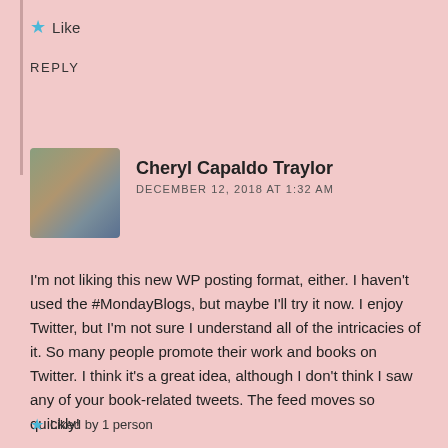Like
REPLY
[Figure (photo): Profile photo of Cheryl Capaldo Traylor, a woman sitting outdoors]
Cheryl Capaldo Traylor
DECEMBER 12, 2018 AT 1:32 AM
I'm not liking this new WP posting format, either. I haven't used the #MondayBlogs, but maybe I'll try it now. I enjoy Twitter, but I'm not sure I understand all of the intricacies of it. So many people promote their work and books on Twitter. I think it's a great idea, although I don't think I saw any of your book-related tweets. The feed moves so quickly!
Liked by 1 person